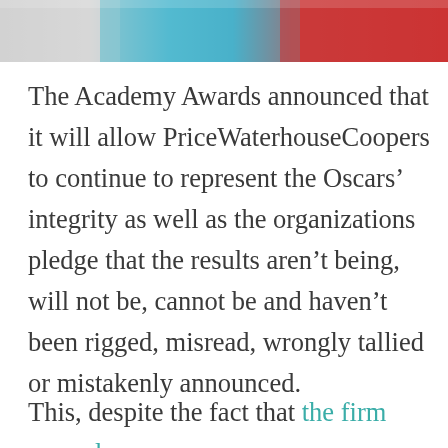[Figure (photo): Partial photo strip showing people at what appears to be the Academy Awards, including someone in a red outfit]
The Academy Awards announced that it will allow PriceWaterhouseCoopers to continue to represent the Oscars’ integrity as well as the organizations pledge that the results aren’t being, will not be, cannot be and haven’t been rigged, misread, wrongly tallied or mistakenly announced.
This, despite the fact that the firm proved